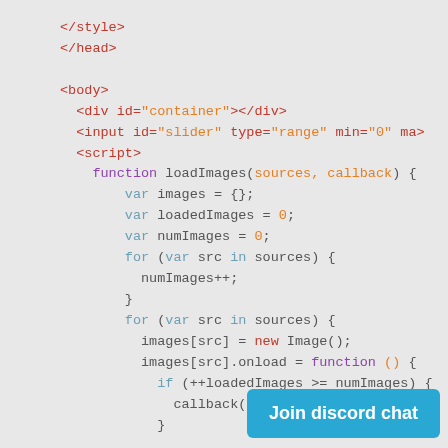[Figure (screenshot): Code editor screenshot showing HTML and JavaScript code snippet including </style>, </head>, <body>, <div id='container'></div>, <input id='slider' type='range' min='0' max...>, <script>, and a loadImages function with variable declarations, for loops, and image loading logic.]
Join discord chat